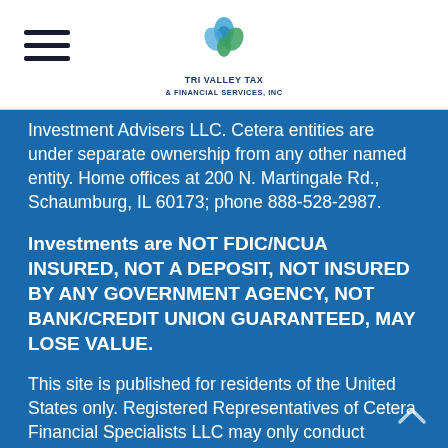Tri Valley Tax & Financial Services Inc
Investment Advisers LLC. Cetera entities are under separate ownership from any other named entity. Home offices at 200 N. Martingale Rd., Schaumburg, IL 60173; phone 888-528-2987.
Investments are NOT FDIC/NCUA INSURED, NOT A DEPOSIT, NOT INSURED BY ANY GOVERNMENT AGENCY, NOT BANK/CREDIT UNION GUARANTEED, MAY LOSE VALUE.
This site is published for residents of the United States only. Registered Representatives of Cetera Financial Specialists LLC may only conduct business with residents of the states and/or jurisdictions in which they are properly registered.